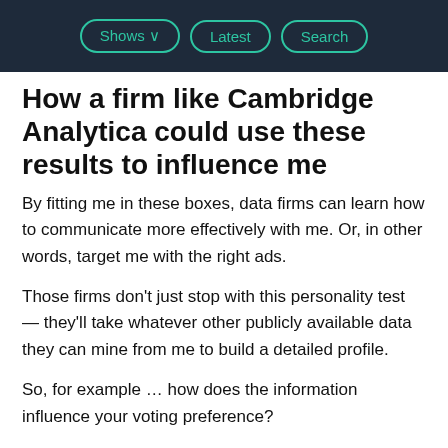Shows  Latest  Search
How a firm like Cambridge Analytica could use these results to influence me
By fitting me in these boxes, data firms can learn how to communicate more effectively with me. Or, in other words, target me with the right ads.
Those firms don't just stop with this personality test — they'll take whatever other publicly available data they can mine from me to build a detailed profile.
So, for example … how does the information influence your voting preference?
“I might be looking to discourage you from going to the